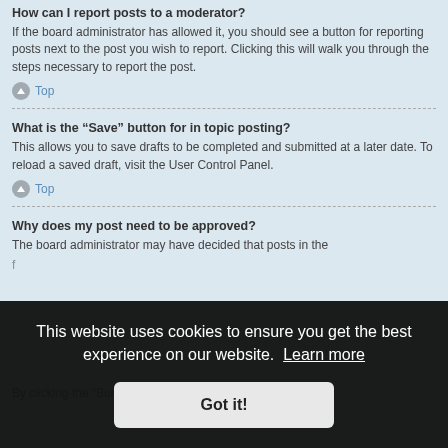How can I report posts to a moderator?
If the board administrator has allowed it, you should see a button for reporting posts next to the post you wish to report. Clicking this will walk you through the steps necessary to report the post.
Top
What is the “Save” button for in topic posting?
This allows you to save drafts to be completed and submitted at a later date. To reload a saved draft, visit the User Control Panel.
Top
Why does my post need to be approved?
The board administrator may have decided that posts in the
By clicking the “Bump topic” link when you are viewing it, you
This website uses cookies to ensure you get the best experience on our website. Learn more
Got it!